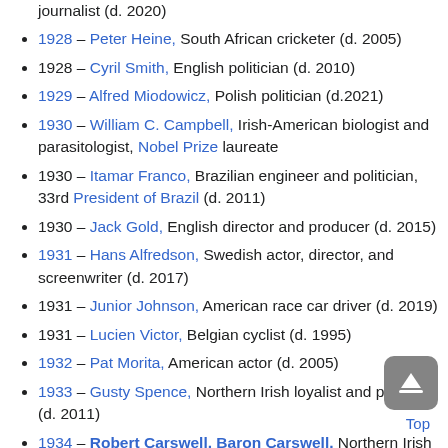journalist (d. 2020)
1928 – Peter Heine, South African cricketer (d. 2005)
1928 – Cyril Smith, English politician (d. 2010)
1929 – Alfred Miodowicz, Polish politician (d.2021)
1930 – William C. Campbell, Irish-American biologist and parasitologist, Nobel Prize laureate
1930 – Itamar Franco, Brazilian engineer and politician, 33rd President of Brazil (d. 2011)
1930 – Jack Gold, English director and producer (d. 2015)
1931 – Hans Alfredson, Swedish actor, director, and screenwriter (d. 2017)
1931 – Junior Johnson, American race car driver (d. 2019)
1931 – Lucien Victor, Belgian cyclist (d. 1995)
1932 – Pat Morita, American actor (d. 2005)
1933 – Gusty Spence, Northern Irish loyalist and politician (d. 2011)
1934 – Robert Carswell, Baron Carswell, Northern Irish